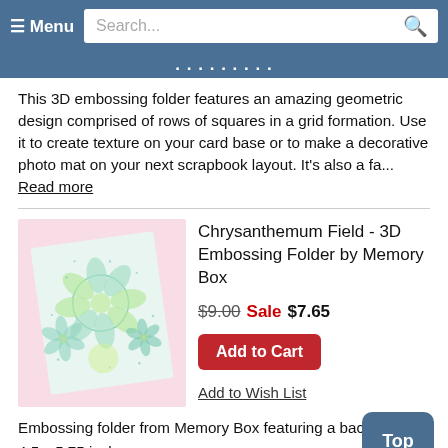≡ Menu  Search...
This 3D embossing folder features an amazing geometric design comprised of rows of squares in a grid formation. Use it to create texture on your card base or to make a decorative photo mat on your next scrapbook layout. It's also a fa... Read more
[Figure (photo): Product photo of Chrysanthemum Field 3D Embossing Folder showing embossed floral pattern in blue and green on pink background]
Chrysanthemum Field - 3D Embossing Folder by Memory Box
$9.00 Sale $7.65
Add to Cart
Add to Wish List
Embossing folder from Memory Box featuring a background!
4.5 x 5.75 inches